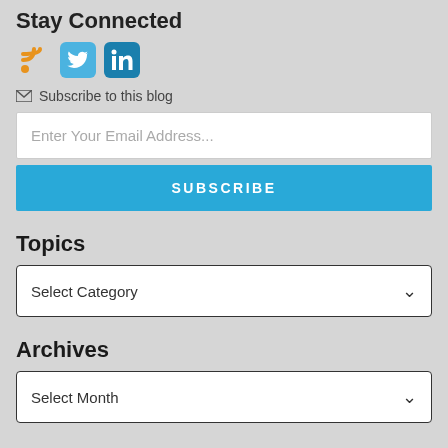Stay Connected
[Figure (infographic): Social media icons: RSS feed (orange), Twitter (light blue rounded square), LinkedIn (dark blue rounded square)]
Subscribe to this blog
Enter Your Email Address...
SUBSCRIBE
Topics
Select Category
Archives
Select Month